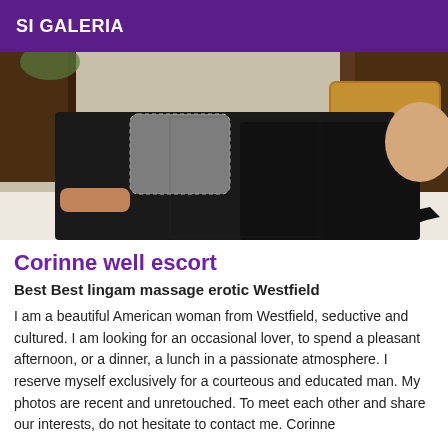SI GALERIA
[Figure (photo): A person posing on a bed wearing black lingerie and stockings, face obscured/blurred, bedroom setting with wooden furniture and decorative pillow]
Corinne well escort
Best Best lingam massage erotic Westfield
I am a beautiful American woman from Westfield, seductive and cultured. I am looking for an occasional lover, to spend a pleasant afternoon, or a dinner, a lunch in a passionate atmosphere. I reserve myself exclusively for a courteous and educated man. My photos are recent and unretouched. To meet each other and share our interests, do not hesitate to contact me. Corinne